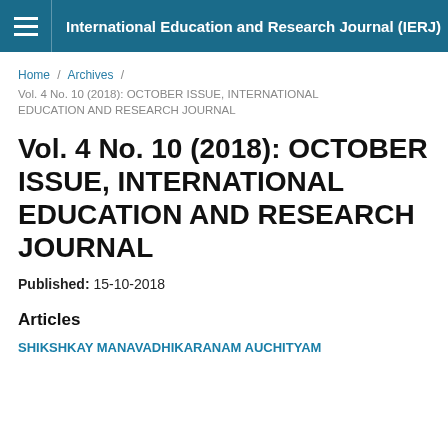International Education and Research Journal (IERJ)
Home / Archives / Vol. 4 No. 10 (2018): OCTOBER ISSUE, INTERNATIONAL EDUCATION AND RESEARCH JOURNAL
Vol. 4 No. 10 (2018): OCTOBER ISSUE, INTERNATIONAL EDUCATION AND RESEARCH JOURNAL
Published: 15-10-2018
Articles
SHIKSHKAY MANAVADHIKARANAM AUCHITYAM